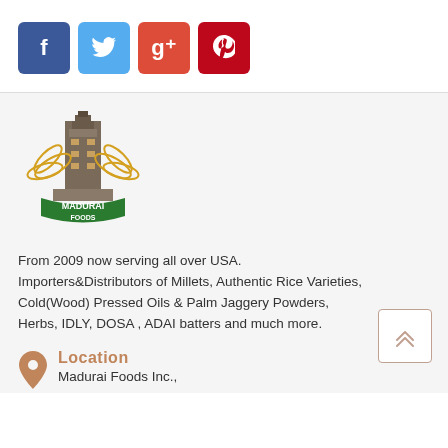[Figure (logo): Social media share buttons: Facebook (blue), Twitter (light blue), Google+ (orange-red), Pinterest (dark red)]
[Figure (logo): Madurai Foods logo: a South Indian temple gopuram with golden wheat wreaths and green banner reading MADURAI FOODS]
From 2009 now serving all over USA. Importers&Distributors of Millets, Authentic Rice Varieties, Cold(Wood) Pressed Oils & Palm Jaggery Powders, Herbs, IDLY, DOSA , ADAI batters and much more.
Location
Madurai Foods Inc.,